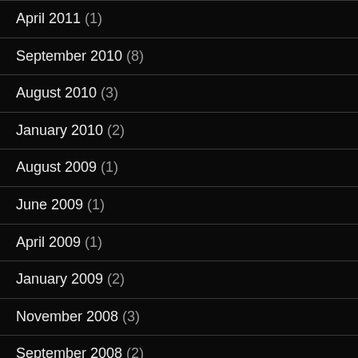April 2011 (1)
September 2010 (8)
August 2010 (3)
January 2010 (2)
August 2009 (1)
June 2009 (1)
April 2009 (1)
January 2009 (2)
November 2008 (3)
September 2008 (2)
August 2008 (2)
July 2008 (1)
May 2008 (2)